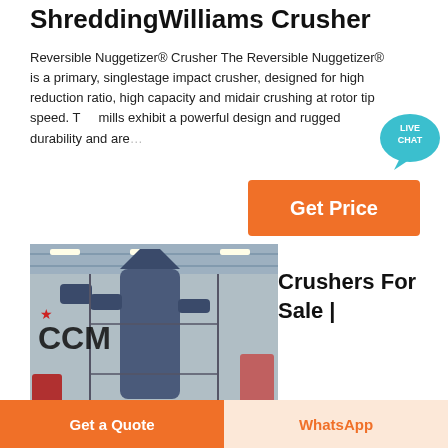ShreddingWilliams Crusher
Reversible Nuggetizer® Crusher The Reversible Nuggetizer® is a primary, singlestage impact crusher, designed for high reduction ratio, high capacity and midair crushing at rotor tip speed. The mills exhibit a powerful design and rugged durability and are...
[Figure (other): Live Chat speech bubble icon with teal/blue color and text LIVE CHAT]
[Figure (other): Orange Get Price button]
[Figure (photo): Industrial factory interior showing large blue cyclone separator/crusher equipment with CCM logo on the wall]
Crushers For Sale |
Get a Quote
WhatsApp